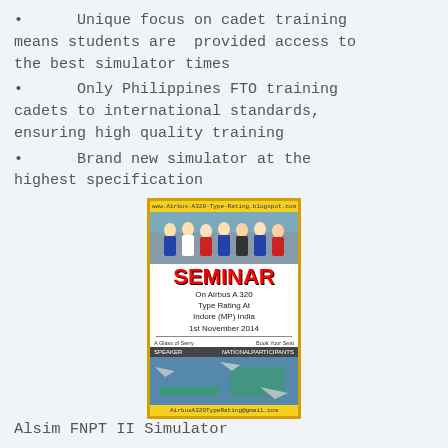Unique focus on cadet training means students are provided access to the best simulator times
Only Philippines FTO training cadets to international standards, ensuring high quality training
Brand new simulator at the highest specification
[Figure (photo): Seminar flyer for Airbus A320 Type Rating at Indore (MP) India, 1st November 2014, with group photo of cadets and aircraft images]
Alsim FNPT II Simulator